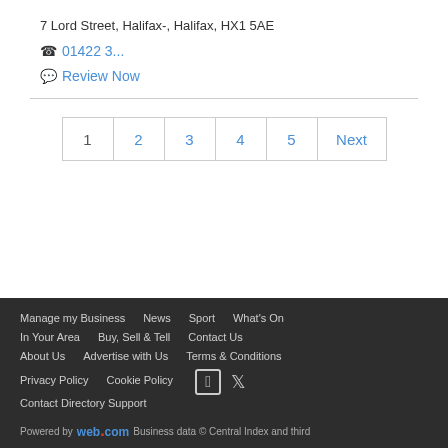7 Lord Street, Halifax-, Halifax, HX1 5AE
01422 3...
Review Now
1 2 3 4 5 Next
Manage my Business  News  Sport  What's On  In Your Area  Buy, Sell & Tell  Contact Us  About Us  Advertise with Us  Terms & Conditions  Privacy Policy  Cookie Policy  Contact Directory Support  Powered by web.com Business data © Central Index and third